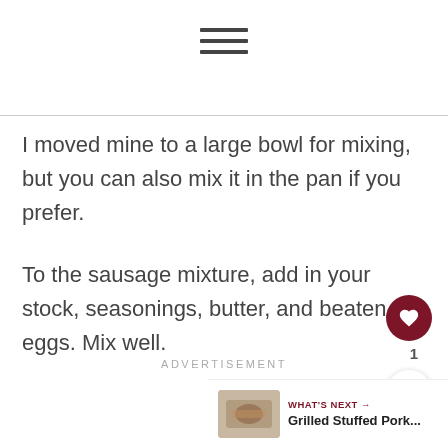[Figure (other): Hamburger menu icon (three horizontal lines)]
I moved mine to a large bowl for mixing, but you can also mix it in the pan if you prefer.
To the sausage mixture, add in your stock, seasonings, butter, and beaten eggs. Mix well.
ADVERTISEMENT
[Figure (other): What's Next card with thumbnail image of Grilled Stuffed Pork and text 'WHAT'S NEXT → Grilled Stuffed Pork...']